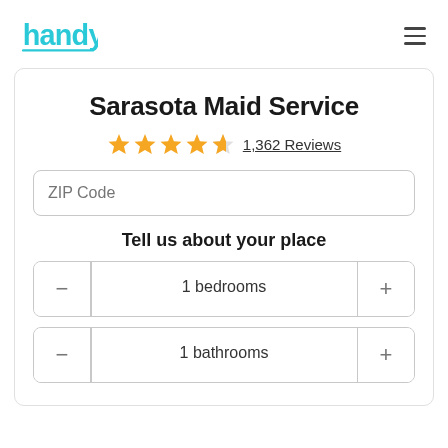handy [logo] [hamburger menu]
Sarasota Maid Service
★★★★½  1,362 Reviews
ZIP Code
Tell us about your place
− 1 bedrooms +
− 1 bathrooms +